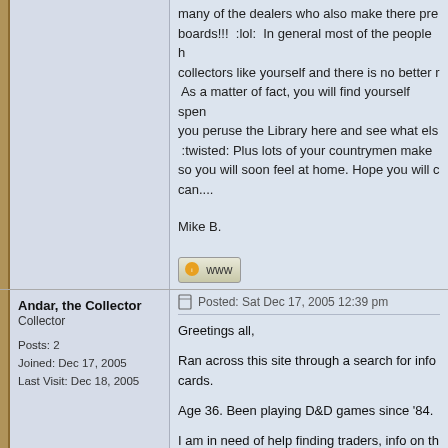many of the dealers who also make there presence on these boards!!! :lol: In general most of the people here are collectors like yourself and there is no better resource. As a matter of fact, you will find yourself spending lots of time as you peruse the Library here and see what else is available. :twisted: Plus lots of your countrymen make their home here so you will soon feel at home. Hope you will contribute what you can....

Mike B.
[Figure (other): WWW button/link icon]
Andar, the Collector
Collector

Posts: 2
Joined: Dec 17, 2005
Last Visit: Dec 18, 2005
Posted: Sat Dec 17, 2005 12:39 pm
Greetings all,

Ran across this site through a search for info on cards.

Age 36. Been playing D&D games since '84.

I am in need of help finding traders, info on the

Peace